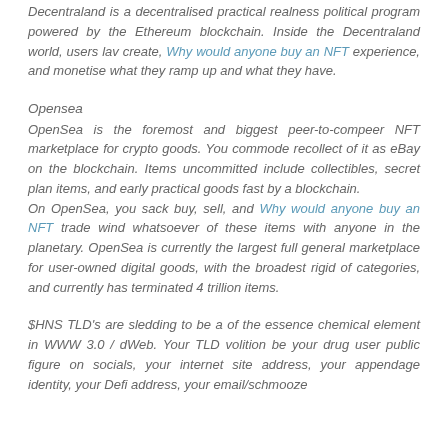Decentraland is a decentralised practical realness political program powered by the Ethereum blockchain. Inside the Decentraland world, users lav create, Why would anyone buy an NFT experience, and monetise what they ramp up and what they have.
Opensea
OpenSea is the foremost and biggest peer-to-compeer NFT marketplace for crypto goods. You commode recollect of it as eBay on the blockchain. Items uncommitted include collectibles, secret plan items, and early practical goods fast by a blockchain. On OpenSea, you sack buy, sell, and Why would anyone buy an NFT trade wind whatsoever of these items with anyone in the planetary. OpenSea is currently the largest full general marketplace for user-owned digital goods, with the broadest rigid of categories, and currently has terminated 4 trillion items.
$HNS TLD's are sledding to be a of the essence chemical element in WWW 3.0 / dWeb. Your TLD volition be your drug user public figure on socials, your internet site address, your appendage identity, your Defi address, your email/schmooze